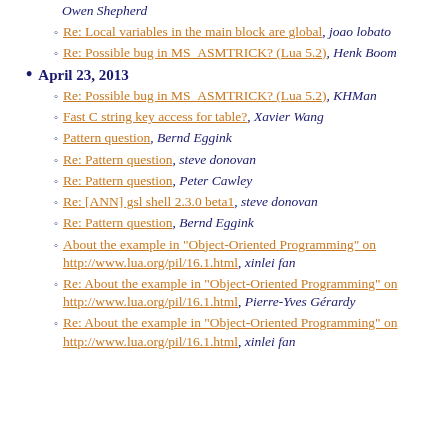Owen Shepherd
Re: Local variables in the main block are global, joao lobato
Re: Possible bug in MS_ASMTRICK? (Lua 5.2), Henk Boom
April 23, 2013
Re: Possible bug in MS_ASMTRICK? (Lua 5.2), KHMan
Fast C string key access for table?, Xavier Wang
Pattern question, Bernd Eggink
Re: Pattern question, steve donovan
Re: Pattern question, Peter Cawley
Re: [ANN] gsl shell 2.3.0 beta1, steve donovan
Re: Pattern question, Bernd Eggink
About the example in "Object-Oriented Programming" on http://www.lua.org/pil/16.1.html, xinlei fan
Re: About the example in "Object-Oriented Programming" on http://www.lua.org/pil/16.1.html, Pierre-Yves Gérardy
Re: About the example in "Object-Oriented Programming" on http://www.lua.org/pil/16.1.html, xinlei fan